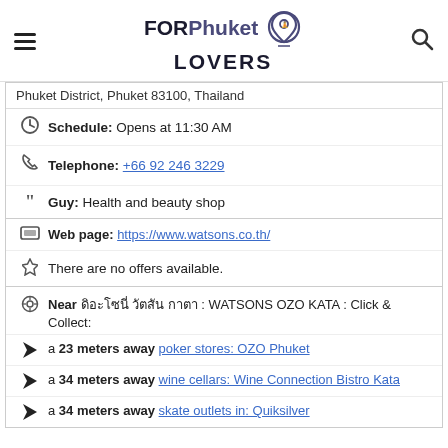FORPhuket LOVERS
Phuket District, Phuket 83100, Thailand
Schedule: Opens at 11:30 AM
Telephone: +66 92 246 3229
Guy: Health and beauty shop
Web page: https://www.watsons.co.th/
There are no offers available.
Near ดิอะโซนี่ วัตสัน กาตา : WATSONS OZO KATA : Click & Collect:
a 23 meters away poker stores: OZO Phuket
a 34 meters away wine cellars: Wine Connection Bistro Kata
a 34 meters away skate outlets in: Quiksilver